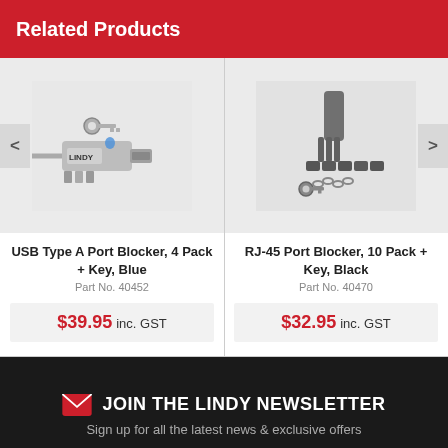Related Products
[Figure (photo): USB Type A Port Blocker product with key, blue color, showing USB blocker device with LINDY branding]
USB Type A Port Blocker, 4 Pack + Key, Blue
Part No. 40452
$39.95 inc. GST
[Figure (photo): RJ-45 Port Blocker product with key, black color, showing network port blocker tool with chain]
RJ-45 Port Blocker, 10 Pack + Key, Black
Part No. 40470
$32.95 inc. GST
JOIN THE LINDY NEWSLETTER
Sign up for all the latest news & exclusive offers